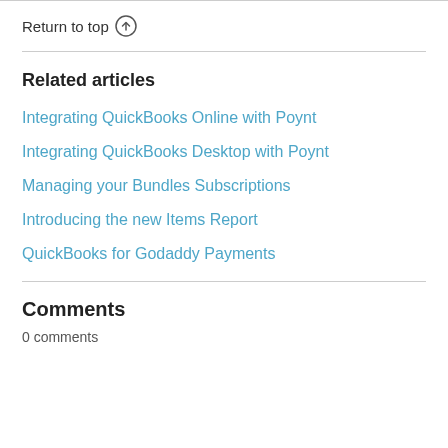Return to top ↑
Related articles
Integrating QuickBooks Online with Poynt
Integrating QuickBooks Desktop with Poynt
Managing your Bundles Subscriptions
Introducing the new Items Report
QuickBooks for Godaddy Payments
Comments
0 comments